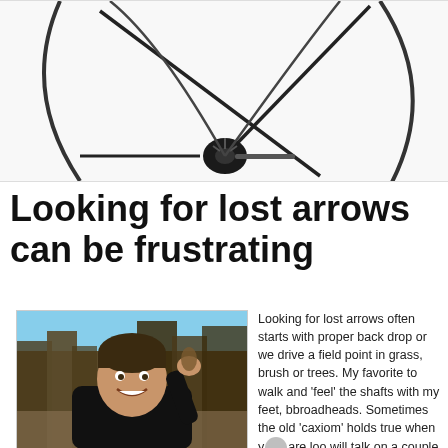[Figure (photo): Close-up photo of archery bow cables and cam mechanism on white background]
Looking for lost arrows can be frustrating
[Figure (photo): Young boy smiling outdoors holding something, trees in background]
Looking for lost arrows often starts with proper back drop or we drive a field point in grass, brush or trees. My favorite to walk and 'feel' the shafts with my feet, but broadheads. Sometimes the old 'c axiom' holds true when y are loo will talk on a couple heads whose c much easier.